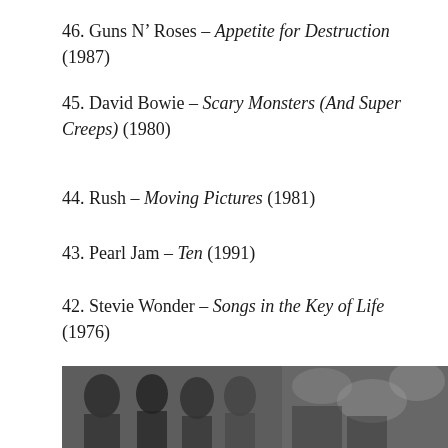46. Guns N’ Roses – Appetite for Destruction (1987)
45. David Bowie – Scary Monsters (And Super Creeps) (1980)
44. Rush – Moving Pictures (1981)
43. Pearl Jam – Ten (1991)
42. Stevie Wonder – Songs in the Key of Life (1976)
41. The Who – Who’s Next (1971)
[Figure (photo): Black and white group photo of musicians]